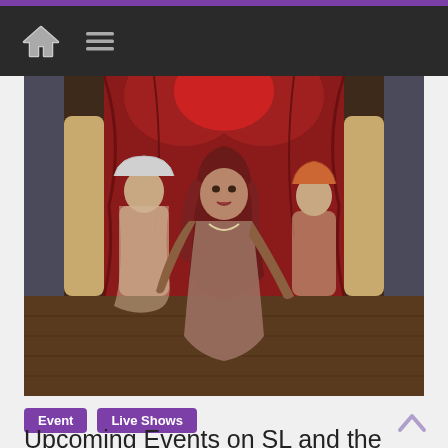[Figure (screenshot): Navigation bar with dark background showing a home icon and hamburger menu icon]
[Figure (photo): Screenshot from Second Life virtual world showing three female avatars in a performance/show setting with red curtained stage backdrop and arched columns]
Event
Live Shows
Upcoming Events on SL and the